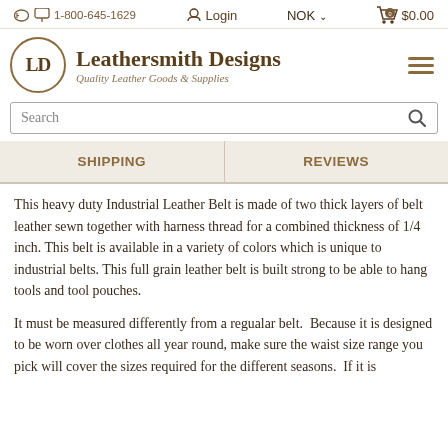1-800-645-1629  Login  NOK  $0.00
Leathersmith Designs
Quality Leather Goods & Supplies
Search
SHIPPING
REVIEWS
This heavy duty Industrial Leather Belt is made of two thick layers of belt leather sewn together with harness thread for a combined thickness of 1/4 inch. This belt is available in a variety of colors which is unique to industrial belts. This full grain leather belt is built strong to be able to hang tools and tool pouches.
It must be measured differently from a regualar belt.  Because it is designed to be worn over clothes all year round, make sure the waist size range you pick will cover the sizes required for the different seasons.  If it is